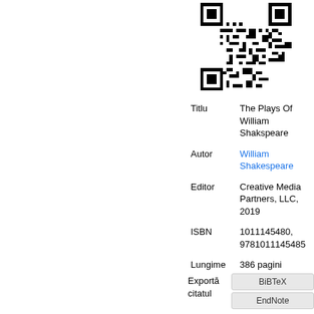[Figure (other): QR code image in black and white]
| Titlu | The Plays Of William Shakspeare |
| Autor | William Shakespeare |
| Editor | Creative Media Partners, LLC, 2019 |
| ISBN | 1011145480, 9781011145485 |
| Lungime | 386 pagini |
Exportă citatul
BiBTeX
EndNote